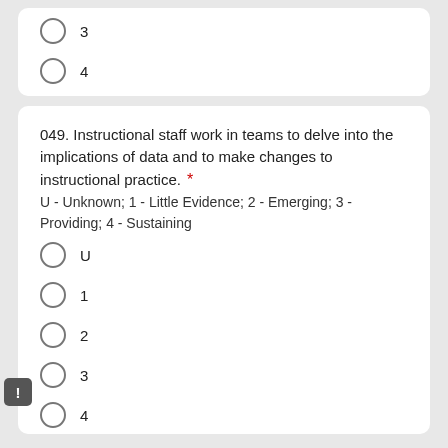3
4
049. Instructional staff work in teams to delve into the implications of data and to make changes to instructional practice.
U - Unknown; 1 - Little Evidence; 2 - Emerging; 3 - Providing; 4 - Sustaining
U
1
2
3
4